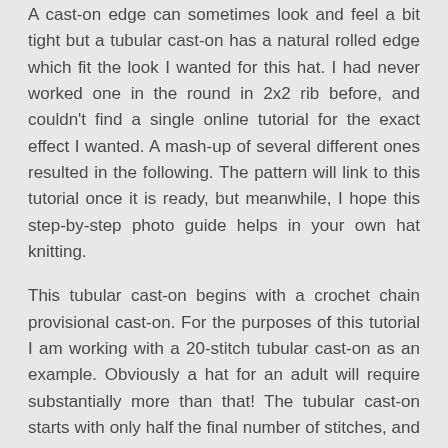A cast-on edge can sometimes look and feel a bit tight but a tubular cast-on has a natural rolled edge which fit the look I wanted for this hat. I had never worked one in the round in 2x2 rib before, and couldn't find a single online tutorial for the exact effect I wanted. A mash-up of several different ones resulted in the following. The pattern will link to this tutorial once it is ready, but meanwhile, I hope this step-by-step photo guide helps in your own hat knitting.
This tubular cast-on begins with a crochet chain provisional cast-on. For the purposes of this tutorial I am working with a 20-stitch tubular cast-on as an example. Obviously a hat for an adult will require substantially more than that! The tubular cast-on starts with only half the final number of stitches, and the remaining half will catch us up later on. Confusing, I know, but trust me, it works.
Since I want a final total of 20 stitches, I begin by casting on 10 (half of 20). To begin, use waste yarn to make a crochet chain around 6 chains longer than the number of stitches you are going to cast on.